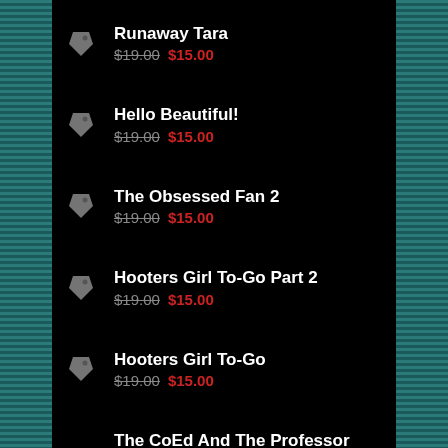Runaway Tara $19.00 $15.00
Hello Beautiful! $19.00 $15.00
The Obsessed Fan 2 $19.00 $15.00
Hooters Girl To-Go Part 2 $19.00 $15.00
Hooters Girl To-Go $19.00 $15.00
The CoEd And The Professor Part 1 $14.00 $10.00